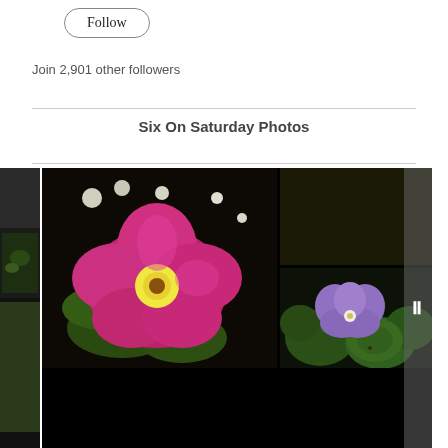Follow
Join 2,901 other followers
Six On Saturday Photos
[Figure (photo): A collage of garden flower photos showing pink primroses, yellow primroses, a purple flower (violet/cyclamen), and bottom strip images of grass/seeds and seedlings. A pause button overlay is visible on the right side. Small thumbnail strip visible on the left edge.]